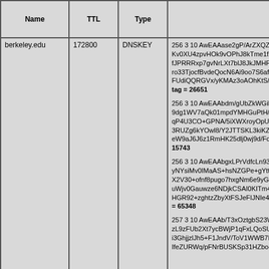| Name | TTL | Type | Data |
| --- | --- | --- | --- |
| berkeley.edu | 172800 | DNSKEY | 256 3 10 AwEAAase2gP/ArZXQZ+QR... tag = 26651
256 3 10 AwEAAbdm/gUbZkWGiNm2b... 15743
256 3 10 AwEAAbgxLPrVdfcLn93PfW... = 65348
257 3 10 AwEAAb/T3xOztgbS23Wdb+... |